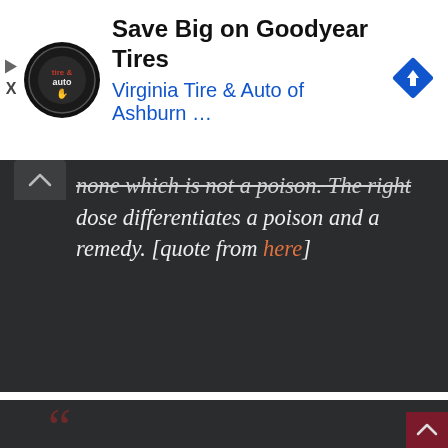[Figure (screenshot): Advertisement banner for Virginia Tire & Auto of Ashburn featuring Goodyear Tires savings, with circular logo, navigation arrow icon, play and X buttons on left side.]
none which is not a poison. The right dose differentiates a poison and a remedy. [quote from here]
Or, “the dose makes the poison”.  Morning 5 oz cup of coffee?  That level of caffeine (60-150 mg) is probably okay**. So, how much caffeine would kill somebody?  Well, perhaps the best answer is the LD50. To borrow from the EPA…
[Figure (screenshot): Bottom dark block with large red quotation marks (66) visible, beginning of another quote block.]